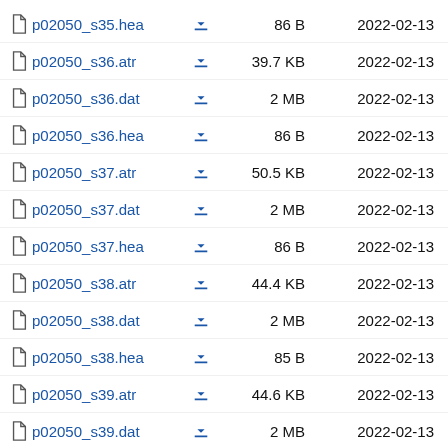p02050_s35.hea  86 B  2022-02-13
p02050_s36.atr  39.7 KB  2022-02-13
p02050_s36.dat  2 MB  2022-02-13
p02050_s36.hea  86 B  2022-02-13
p02050_s37.atr  50.5 KB  2022-02-13
p02050_s37.dat  2 MB  2022-02-13
p02050_s37.hea  86 B  2022-02-13
p02050_s38.atr  44.4 KB  2022-02-13
p02050_s38.dat  2 MB  2022-02-13
p02050_s38.hea  85 B  2022-02-13
p02050_s39.atr  44.6 KB  2022-02-13
p02050_s39.dat  2 MB  2022-02-13
p02050_s39.hea  87 B  2022-02-13
p02050_s40.atr  44.2 KB  2022-02-13